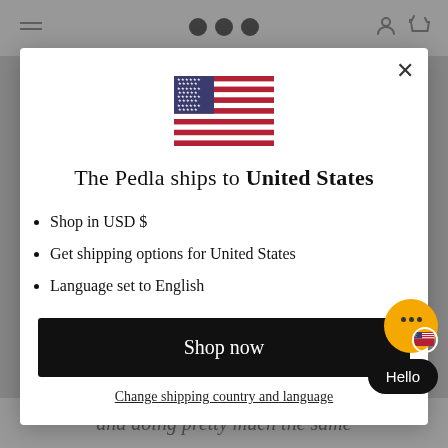[Figure (screenshot): Website navigation bar with hamburger menu icon on left, three black dots (logo) in center, and user/cart icons on right]
[Figure (illustration): US flag SVG inline]
The Pedla ships to United States
Shop in USD $
Get shipping options for United States
Language set to English
Shop now
Change shipping country and language
and doing pretty much the same